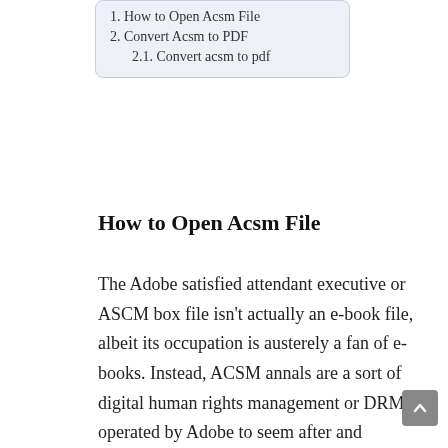1. How to Open Acsm File
2. Convert Acsm to PDF
2.1. Convert acsm to pdf
How to Open Acsm File
The Adobe satisfied attendant executive or ASCM box file isn't actually an e-book file, albeit its occupation is austerely a fan of e-books. Instead, ACSM annals are a sort of digital human rights management or DRM operated by Adobe to seem after and disseminate Adobe e-books. for instance , if your annals offers electronic books to members, the sandpaper you download for a hardback or magazine capacity in point of fact be